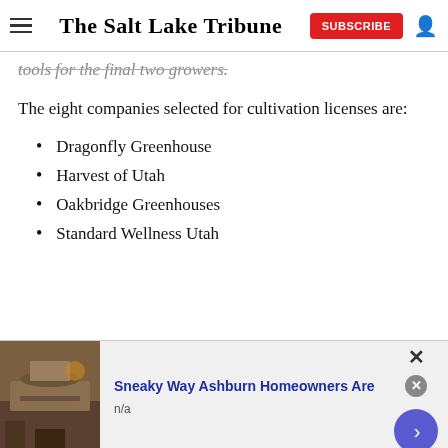The Salt Lake Tribune
tools for the final two growers.
The eight companies selected for cultivation licenses are:
Dragonfly Greenhouse
Harvest of Utah
Oakbridge Greenhouses
Standard Wellness Utah
[Figure (screenshot): Advertisement banner: 'Sneaky Way Ashburn Homeowners Are' with source 'n/a', showing a photo of someone doing roof work.]